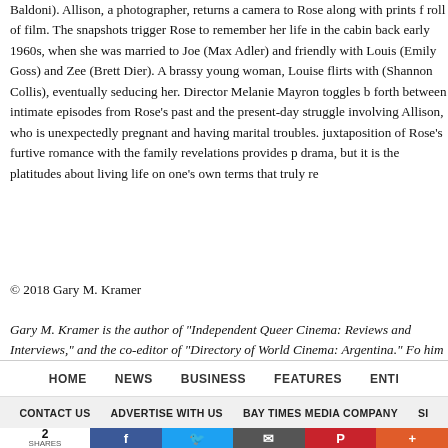Baldoni). Allison, a photographer, returns a camera to Rose along with prints from a roll of film. The snapshots trigger Rose to remember her life in the cabin back in the early 1960s, when she was married to Joe (Max Adler) and friendly with Louise (Emily Goss) and Zee (Brett Dier). A brassy young woman, Louise flirts with (Shannon Collis), eventually seducing her. Director Melanie Mayron toggles back and forth between intimate episodes from Rose's past and the present-day struggles involving Allison, who is unexpectedly pregnant and having marital troubles. The juxtaposition of Rose's furtive romance with the family revelations provides plenty of drama, but it is the platitudes about living life on one's own terms that truly re...
© 2018 Gary M. Kramer
Gary M. Kramer is the author of "Independent Queer Cinema: Reviews and Interviews," and the co-editor of "Directory of World Cinema: Argentina." Follow him on Twitter @garymkramer
HOME  NEWS  BUSINESS  FEATURES  ENTI...
CONTACT US  ADVERTISE WITH US  BAY TIMES MEDIA COMPANY  SI...